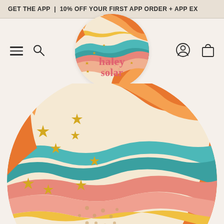GET THE APP  |  10% OFF YOUR FIRST APP ORDER + APP EX
[Figure (logo): Haley Solar circular logo with retro swirling wavy patterns in orange, teal, pink, and cream colors with stars and sun motifs, text 'haley solar' in pink serif font]
[Figure (illustration): Large Haley Solar circular logo cropped, showing retro swirling wavy patterns in orange, teal, pink, cream, and yellow colors with gold star decorations and the word 'haley' in large pink retro serif font at the bottom]